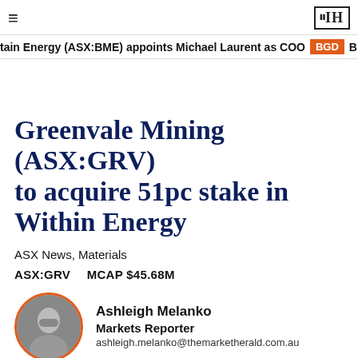≡   ЗIН
tain Energy (ASX:BME) appoints Michael Laurent as COO  BGD  B
Greenvale Mining (ASX:GRV) to acquire 51pc stake in Within Energy
ASX News, Materials
ASX:GRV   MCAP $45.68M
[Figure (photo): Circular portrait photo of Ashleigh Melanko with orange border]
Ashleigh Melanko
Markets Reporter
ashleigh.melanko@themarketherald.com.au